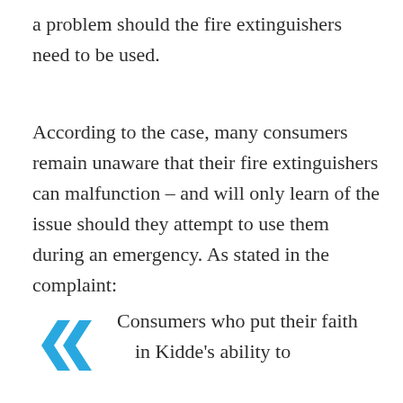a problem should the fire extinguishers need to be used.
According to the case, many consumers remain unaware that their fire extinguishers can malfunction – and will only learn of the issue should they attempt to use them during an emergency. As stated in the complaint:
Consumers who put their faith in Kidde's ability to